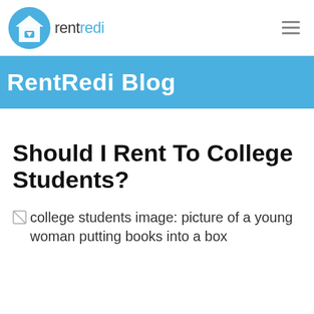rentredi
RentRedi Blog
Should I Rent To College Students?
[Figure (photo): Broken image placeholder with alt text: college students image: picture of a young woman putting books into a box]